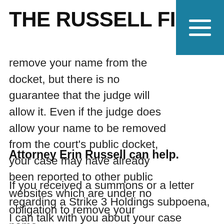THE RUSSELL FIRM
remove your name from the docket, but there is no guarantee that the judge will allow it. Even if the judge does allow your name to be removed from the court’s public docket, your case may have already been reported to other public websites which are under no obligation to remove your name.
Attorney Erin Russell can help.
If you received a summons or a letter regarding a Strike 3 Holdings subpoena,  I can talk with you about your case based on